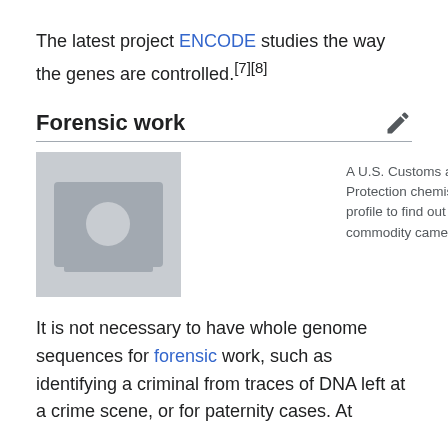The latest project ENCODE studies the way the genes are controlled.[7][8]
Forensic work
[Figure (photo): A U.S. Customs and Border Protection chemist reads a DNA profile to find out where a commodity came from.]
A U.S. Customs and Border Protection chemist reads a DNA profile to find out where a commodity came from.
It is not necessary to have whole genome sequences for forensic work, such as identifying a criminal from traces of DNA left at a crime scene, or for paternity cases. At